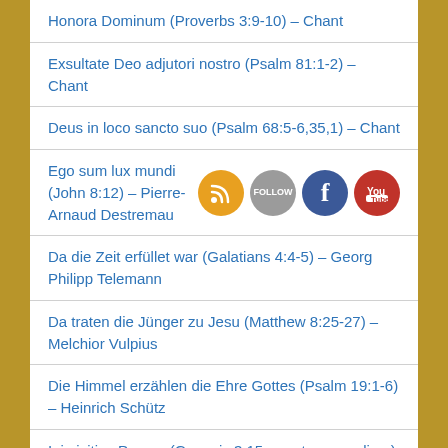Honora Dominum (Proverbs 3:9-10) – Chant
Exsultate Deo adjutori nostro (Psalm 81:1-2) – Chant
Deus in loco sancto suo (Psalm 68:5-6,35,1) – Chant
Ego sum lux mundi (John 8:12) – Pierre-Arnaud Destremau
Da die Zeit erfüllet war (Galatians 4:4-5) – Georg Philipp Telemann
Da traten die Jünger zu Jesu (Matthew 8:25-27) – Melchior Vulpius
Die Himmel erzählen die Ehre Gottes (Psalm 19:1-6) – Heinrich Schütz
Inimicitias Ponam (Genesis 3:15 – protoevangelium)